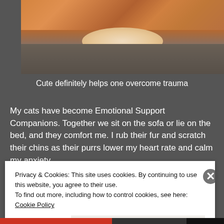[Figure (photo): Close-up photo of an orange/ginger cat lying on a grey fabric surface, showing fur and belly]
Cute definitely helps one overcome trauma
My cats have become Emotional Support Companions. Together we sit on the sofa or lie on the bed, and they comfort me. I rub their fur and scratch their chins as their purrs lower my heart rate and calm my anxiety.
Advertisements
[Figure (screenshot): Advertisement banner for P2: Getting your team on the same page is easy. And free.]
Privacy & Cookies: This site uses cookies. By continuing to use this website, you agree to their use.
To find out more, including how to control cookies, see here: Cookie Policy
Close and accept